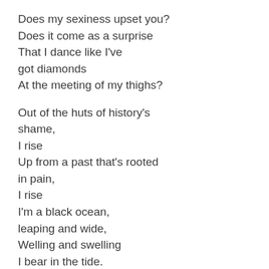Does my sexiness upset you?
Does it come as a surprise
That I dance like I've
got diamonds
At the meeting of my thighs?

Out of the huts of history's
shame,
I rise
Up from a past that's rooted
in pain,
I rise
I'm a black ocean,
leaping and wide,
Welling and swelling
I bear in the tide.

Leaving behind nights
of terror and fear,